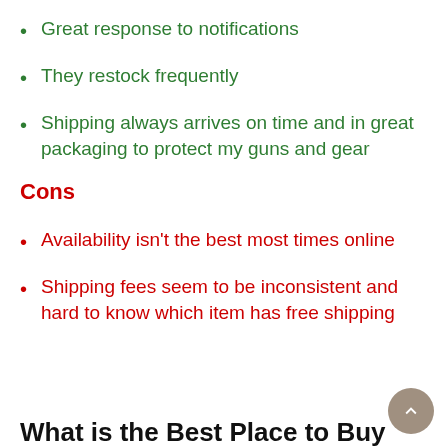Great response to notifications
They restock frequently
Shipping always arrives on time and in great packaging to protect my guns and gear
Cons
Availability isn't the best most times online
Shipping fees seem to be inconsistent and hard to know which item has free shipping
What is the Best Place to Buy